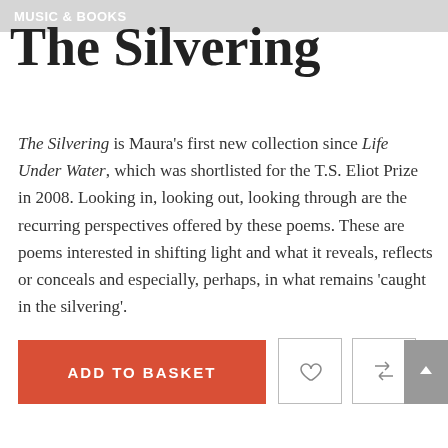Music & Books
The Silvering
The Silvering is Maura's first new collection since Life Under Water, which was shortlisted for the T.S. Eliot Prize in 2008. Looking in, looking out, looking through are the recurring perspectives offered by these poems. These are poems interested in shifting light and what it reveals, reflects or conceals and especially, perhaps, in what remains ‘caught in the silvering’.
✓ 1 in stock
ADD TO BASKET